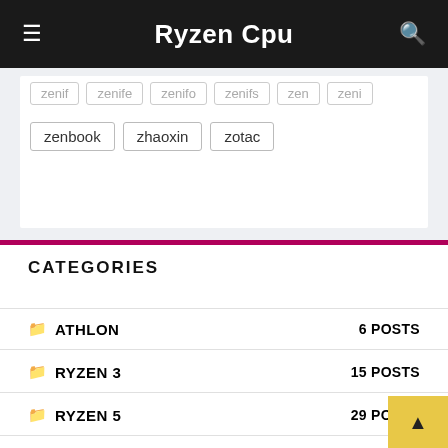Ryzen Cpu
zenbook
zhaoxin
zotac
CATEGORIES
ATHLON  6 POSTS
RYZEN 3  15 POSTS
RYZEN 5  29 POSTS
RYZEN 7  25 POSTS
RYZEN 9  12 POSTS
THREADRIPPER  15 POSTS